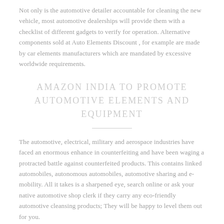Not only is the automotive detailer accountable for cleaning the new vehicle, most automotive dealerships will provide them with a checklist of different gadgets to verify for operation. Alternative components sold at Auto Elements Discount , for example are made by car elements manufacturers which are mandated by excessive worldwide requirements.
AMAZON INDIA TO PROMOTE AUTOMOTIVE ELEMENTS AND EQUIPMENT
The automotive, electrical, military and aerospace industries have faced an enormous enhance in counterfeiting and have been waging a protracted battle against counterfeited products. This contains linked automobiles, autonomous automobiles, automotive sharing and e-mobility. All it takes is a sharpened eye, search online or ask your native automotive shop clerk if they carry any eco-friendly automotive cleansing products; They will be happy to level them out for you.